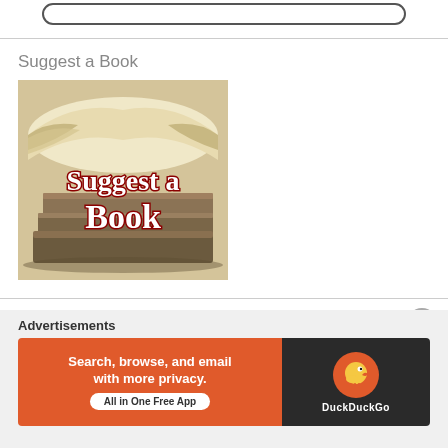[Figure (screenshot): Partial top banner with rounded rectangle button shape, cropped at top of page]
Suggest a Book
[Figure (photo): Photo of stacked books with an open book on top, overlaid with red serif text reading 'Suggest a Book']
Advertisements
[Figure (infographic): DuckDuckGo advertisement banner: orange left panel with text 'Search, browse, and email with more privacy. All in One Free App' and dark right panel with DuckDuckGo logo and duck icon]